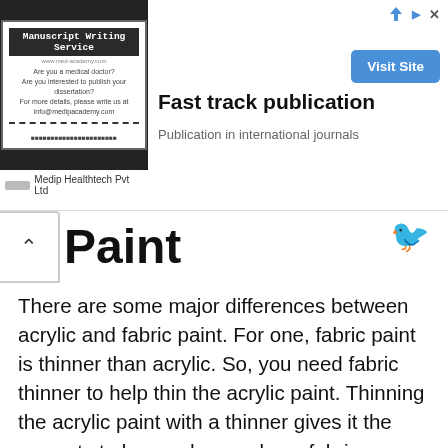[Figure (other): Advertisement banner for Medip Healthtech Pvt Ltd / Manuscript Writing Service promoting fast track publication in international journals with a Visit Site button.]
Paint
There are some major differences between acrylic and fabric paint. For one, fabric paint is thinner than acrylic. So, you need fabric thinner to help thin the acrylic paint. Thinning the acrylic paint with a thinner gives it the property to be used properly on fabric surfaces.
Another important distinction is that, since acrylic is a water-based paint, upon drying, it causes chipping and prickling sensation on the body. On the